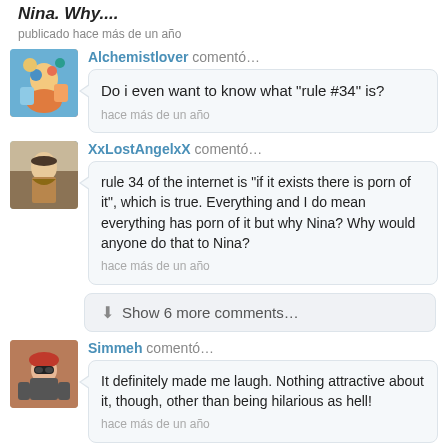Nina. Why....
publicado hace más de un año
Alchemistlover comentó…
Do i even want to know what "rule #34" is?
hace más de un año
XxLostAngelxX comentó…
rule 34 of the internet is "if it exists there is porn of it", which is true. Everything and I do mean everything has porn of it but why Nina? Why would anyone do that to Nina?
hace más de un año
Show 6 more comments…
Simmeh comentó…
It definitely made me laugh. Nothing attractive about it, though, other than being hilarious as hell!
hace más de un año
sophiebridgers dicho …